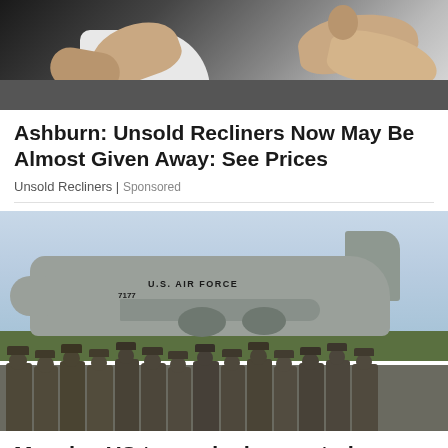[Figure (photo): Photo of a person reclining in a chair, showing arms and feet/legs elevated on a recliner]
Ashburn: Unsold Recliners Now May Be Almost Given Away: See Prices
Unsold Recliners | Sponsored
[Figure (photo): Military photo showing US Air Force C-17 cargo aircraft on tarmac with soldiers in combat gear marching in formation in the foreground]
Massive US troop deployment plans revealed